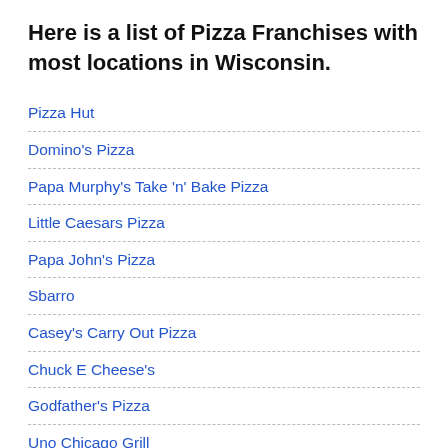Here is a list of Pizza Franchises with most locations in Wisconsin.
Pizza Hut
Domino's Pizza
Papa Murphy's Take 'n' Bake Pizza
Little Caesars Pizza
Papa John's Pizza
Sbarro
Casey's Carry Out Pizza
Chuck E Cheese's
Godfather's Pizza
Uno Chicago Grill
Marco's Pizza